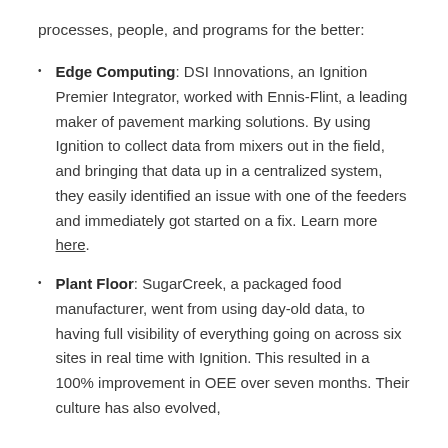processes, people, and programs for the better:
Edge Computing: DSI Innovations, an Ignition Premier Integrator, worked with Ennis-Flint, a leading maker of pavement marking solutions. By using Ignition to collect data from mixers out in the field, and bringing that data up in a centralized system, they easily identified an issue with one of the feeders and immediately got started on a fix. Learn more here.
Plant Floor: SugarCreek, a packaged food manufacturer, went from using day-old data, to having full visibility of everything going on across six sites in real time with Ignition. This resulted in a 100% improvement in OEE over seven months. Their culture has also evolved,